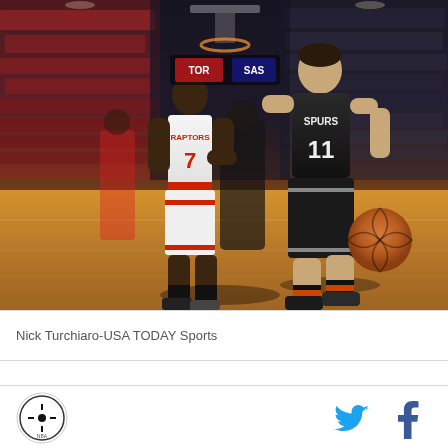[Figure (photo): NBA basketball game photo showing San Antonio Spurs player #11 dribbling the ball while Toronto Raptors player #7 defends. The game is played in an arena with a packed crowd. The court is visible in the foreground.]
Nick Turchiaro-USA TODAY Sports
[Figure (logo): San Antonio Spurs circular team logo in black and white]
[Figure (other): Twitter bird social media icon in blue]
[Figure (other): Facebook 'f' social media icon in dark blue]